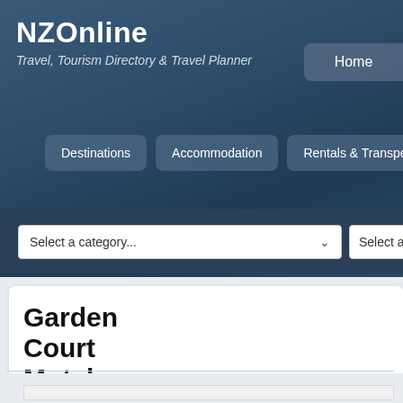NZOnline
Travel, Tourism Directory & Travel Planner
Home
Destinations
Accommodation
Rentals & Transpe
Select a category...
Select a region...
Garden Court Motel, Tauranga